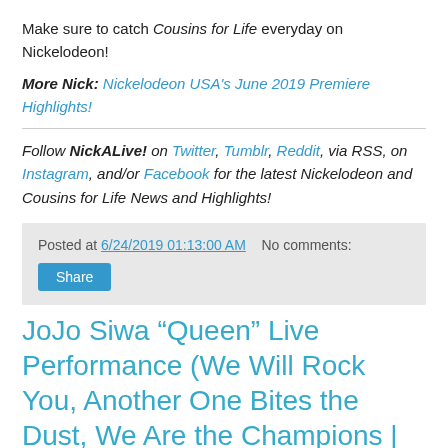Make sure to catch Cousins for Life everyday on Nickelodeon!
More Nick: Nickelodeon USA's June 2019 Premiere Highlights!
Follow NickALive! on Twitter, Tumblr, Reddit, via RSS, on Instagram, and/or Facebook for the latest Nickelodeon and Cousins for Life News and Highlights!
Posted at 6/24/2019 01:13:00 AM   No comments:
Share
JoJo Siwa “Queen” Live Performance (We Will Rock You, Another One Bites the Dust, We Are the Champions | Its JoJo Siwa